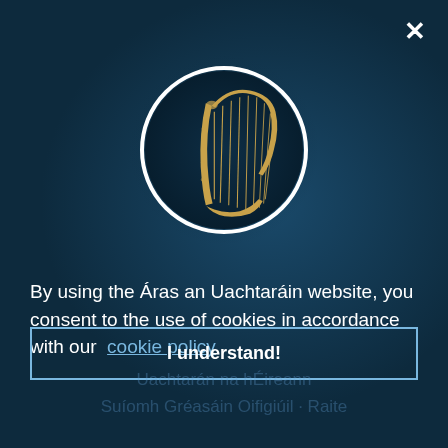[Figure (logo): Irish harp emblem in gold on dark navy circular background with white circle border — Áras an Uachtaráin / President of Ireland logo]
By using the Áras an Uachtaráin website, you consent to the use of cookies in accordance with our cookie policy
I understand!
Uachtarán na hÉireann
Suíomh Gréasáin Oifigiúil · Raite